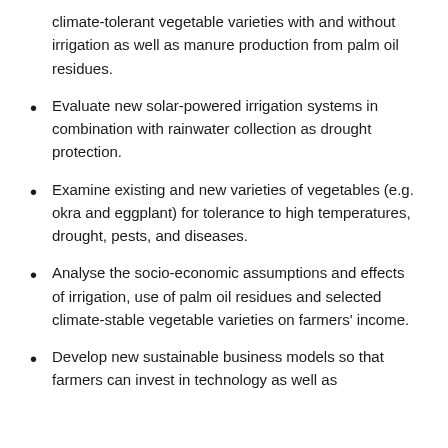climate-tolerant vegetable varieties with and without irrigation as well as manure production from palm oil residues.
Evaluate new solar-powered irrigation systems in combination with rainwater collection as drought protection.
Examine existing and new varieties of vegetables (e.g. okra and eggplant) for tolerance to high temperatures, drought, pests, and diseases.
Analyse the socio-economic assumptions and effects of irrigation, use of palm oil residues and selected climate-stable vegetable varieties on farmers' income.
Develop new sustainable business models so that farmers can invest in technology as well as...